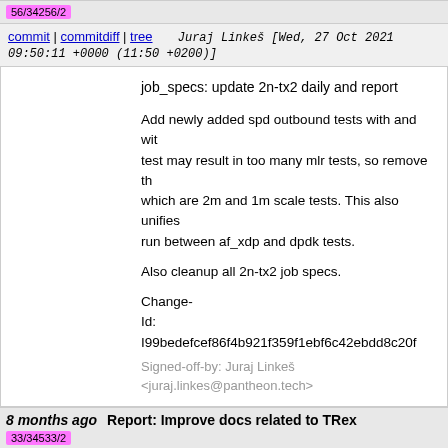56/34256/2
commit | commitdiff | tree   Juraj Linkeš [Wed, 27 Oct 2021 09:50:11 +0000 (11:50 +0200)]
job_specs: update 2n-tx2 daily and report

Add newly added spd outbound tests with and with... test may result in too many mlr tests, so remove th... which are 2m and 1m scale tests. This also unifies... run between af_xdp and dpdk tests.

Also cleanup all 2n-tx2 job specs.

Change-Id: I99bedefcef86f4b921f359f1ebf6c42ebdd8c20f
Signed-off-by: Juraj Linkeš <juraj.linkes@pantheon.tech>
8 months ago   Report: Improve docs related to TRex
33/34533/2
commit | commitdiff | tree   Vratko Polak [Tue, 16 Nov 2021 16:32:50 +0000 (17:32 +0100)]
Report: Improve docs related to TRex

Change-Id: I0ed346ff30c61d28b5a2232ef2f9d32d26c1ae2
Signed-off-by: Vratko Polak <vrpolak@cisco.com>